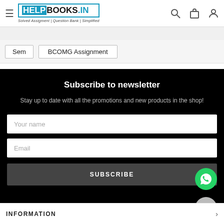HELPBOOKS.IN — Solved Assigment | Question Bank | Simplified
Sem
BCOMG Assignment
Subscribe to newsletter
Stay up to date with all the promotions and new products in the shop!
Your name
Email
SUBSCRIBE
INFORMATION